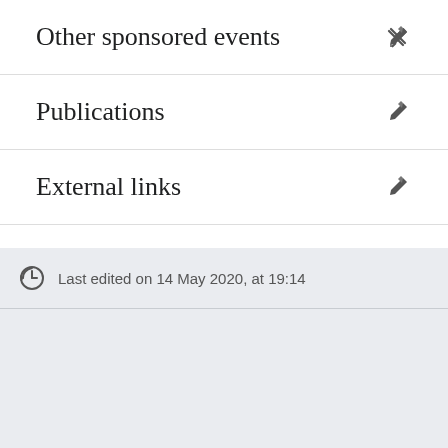Other sponsored events
Publications
External links
Last edited on 14 May 2020, at 19:14